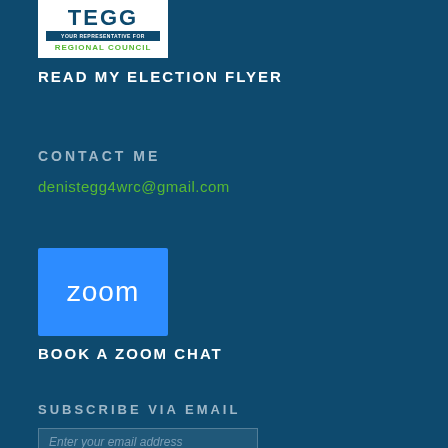[Figure (logo): TEGG logo with 'YOUR REPRESENTATIVE FOR REGIONAL COUNCIL' text on white background]
READ MY ELECTION FLYER
CONTACT ME
denistegg4wrc@gmail.com
[Figure (logo): Zoom logo - blue rectangle with white 'zoom' text]
BOOK A ZOOM CHAT
SUBSCRIBE VIA EMAIL
Enter your email address